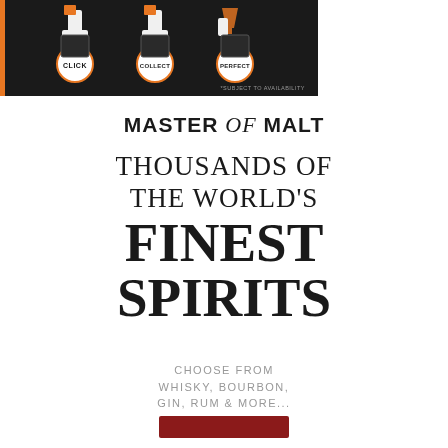[Figure (infographic): Dark background promotional image with orange left bar, three phone/device icons with circular badges labeled CLICK, COLLECT, PERFECT, and small text '*SUBJECT TO AVAILABILITY']
MASTER of MALT
THOUSANDS OF THE WORLD'S FINEST SPIRITS
CHOOSE FROM WHISKY, BOURBON, GIN, RUM & MORE...